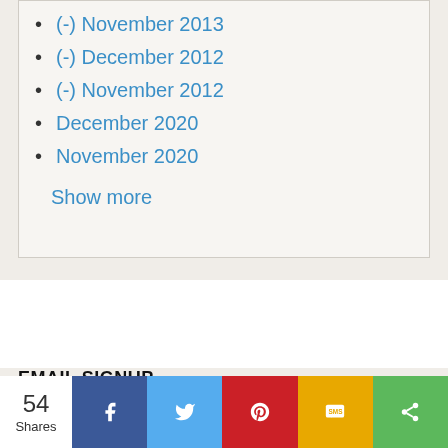(-) November 2013
(-) December 2012
(-) November 2012
December 2020
November 2020
Show more
EMAIL SIGNUP
54 Shares